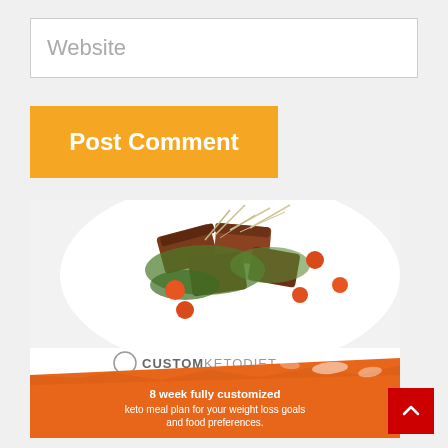Website
Post Comment
[Figure (illustration): Custom Keto Diet advertisement showing a plate of seared tuna salad with cherry tomatoes and greens. The CustomKetoDiet logo is shown in grey text. An orange brushstroke banner at the bottom reads: '8 week fully customized keto meal plan for your weight loss goals and food preferences.']
8 week fully customized keto meal plan for your weight loss goals and food preferences.